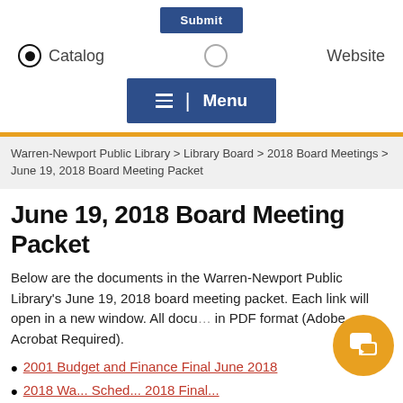[Figure (screenshot): Blue search/submit button at top]
Catalog  Website (radio button row)
[Figure (screenshot): Dark blue Menu button with hamburger icon and vertical divider]
Warren-Newport Public Library > Library Board > 2018 Board Meetings > June 19, 2018 Board Meeting Packet
June 19, 2018 Board Meeting Packet
Below are the documents in the Warren-Newport Public Library's June 19, 2018 board meeting packet. Each link will open in a new window. All docu... in PDF format (Adobe Acrobat Required).
2001 Budget and Finance Final June 2018
2018 Wa... Sched... 2018 Final...